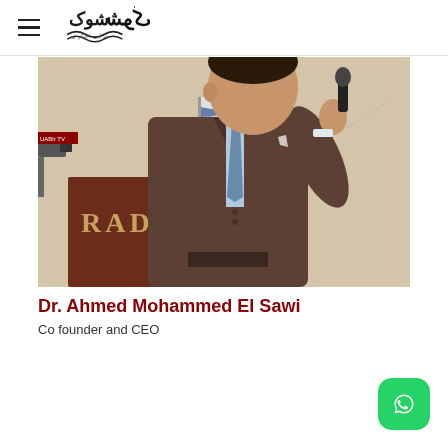شوک (Arabic logo/brand name)
[Figure (photo): A man in a brown suit holding a microphone at a podium with 'RAD' lettering, speaking at an event. A TV camera and flag visible in background.]
Dr. Ahmed Mohammed El Sawi
Co founder and CEO
[Figure (logo): WhatsApp icon button (green rounded square with white phone handset)]